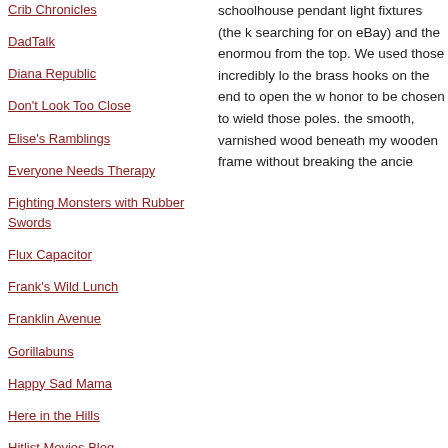Crib Chronicles
DadTalk
Diana Republic
Don't Look Too Close
Elise's Ramblings
Everyone Needs Therapy
Fighting Monsters with Rubber Swords
Flux Capacitor
Frank's Wild Lunch
Franklin Avenue
Gorillabuns
Happy Sad Mama
Here in the Hills
Hitlist Movies Blog
Huffington Post (Link to my articles)
I'm Unschooled. Yes, I Can Write.
J-ust M-e
Jane Devin
schoolhouse pendant light fixtures (the k searching for on eBay) and the enormou from the top. We used those incredibly lo the brass hooks on the end to open the w honor to be chosen to wield those poles. the smooth, varnished wood beneath my wooden frame without breaking the ancie